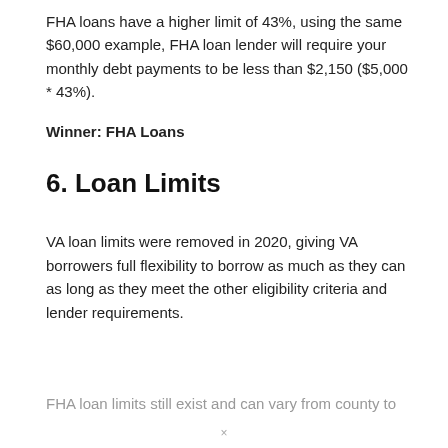FHA loans have a higher limit of 43%, using the same $60,000 example, FHA loan lender will require your monthly debt payments to be less than $2,150 ($5,000 * 43%).
Winner: FHA Loans
6. Loan Limits
VA loan limits were removed in 2020, giving VA borrowers full flexibility to borrow as much as they can as long as they meet the other eligibility criteria and lender requirements.
FHA loan limits still exist and can vary from county to